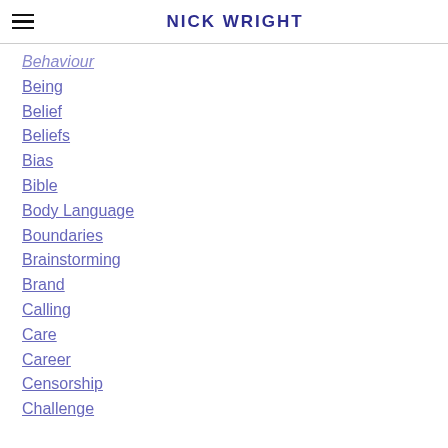NICK WRIGHT
Behaviour
Being
Belief
Beliefs
Bias
Bible
Body Language
Boundaries
Brainstorming
Brand
Calling
Care
Career
Censorship
Challenge